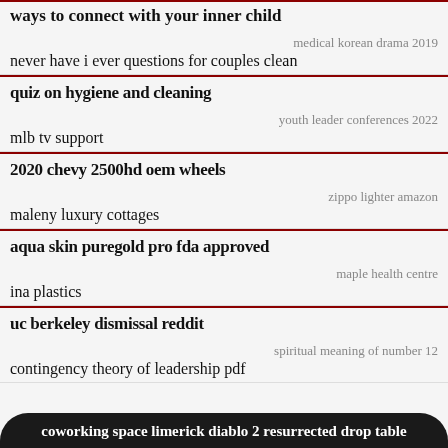ways to connect with your inner child
medical korean drama 2019
never have i ever questions for couples clean
quiz on hygiene and cleaning
youth leader conferences 2022
mlb tv support
2020 chevy 2500hd oem wheels
zippo lighter amazon
maleny luxury cottages
aqua skin puregold pro fda approved
maple health centre
ina plastics
uc berkeley dismissal reddit
spiritual meaning of number 12
contingency theory of leadership pdf
coworking space limerick diablo 2 resurrected drop table